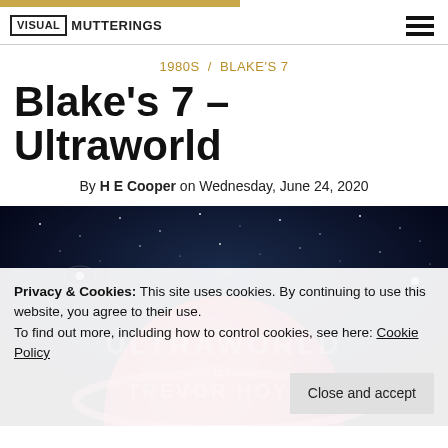VISUAL MUTTERINGS
1980S / BLAKE'S 7
Blake's 7 – Ultraworld
By H E Cooper on Wednesday, June 24, 2020
[Figure (photo): Space scene with stars and a planet, with text overlay 'ULTRAWORLD BY TREVOR HOYLE']
Privacy & Cookies: This site uses cookies. By continuing to use this website, you agree to their use.
To find out more, including how to control cookies, see here: Cookie Policy